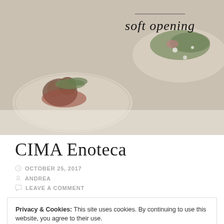[Figure (photo): Food photography showing two white plates with gourmet dishes on a light background. Text 'soft opening' in script style at the top center with a horizontal line above it.]
CIMA Enoteca
OCTOBER 25, 2017
ANDREA
LEAVE A COMMENT
Privacy & Cookies: This site uses cookies. By continuing to use this website, you agree to their use.
To find out more, including how to control cookies, see here: Cookie Policy
Close and accept
opportunity. I was ecstatic that the restaurant was